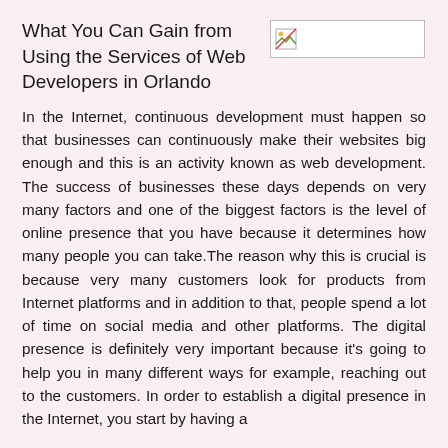What You Can Gain from Using the Services of Web Developers in Orlando
[Figure (photo): Small image placeholder with broken image icon]
In the Internet, continuous development must happen so that businesses can continuously make their websites big enough and this is an activity known as web development. The success of businesses these days depends on very many factors and one of the biggest factors is the level of online presence that you have because it determines how many people you can take.The reason why this is crucial is because very many customers look for products from Internet platforms and in addition to that, people spend a lot of time on social media and other platforms. The digital presence is definitely very important because it’s going to help you in many different ways for example, reaching out to the customers. In order to establish a digital presence in the Internet, you start by having a